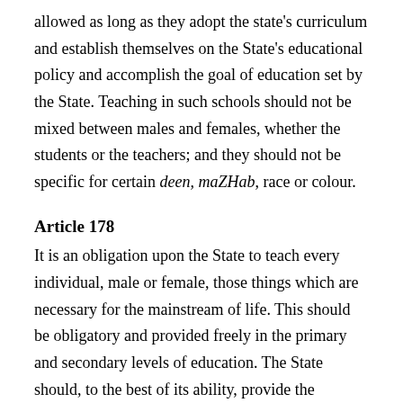allowed as long as they adopt the state's curriculum and establish themselves on the State's educational policy and accomplish the goal of education set by the State. Teaching in such schools should not be mixed between males and females, whether the students or the teachers; and they should not be specific for certain deen, maZHab, race or colour.
Article 178
It is an obligation upon the State to teach every individual, male or female, those things which are necessary for the mainstream of life. This should be obligatory and provided freely in the primary and secondary levels of education. The State should, to the best of its ability, provide the opportunity for everyone to continue higher education free of charge.